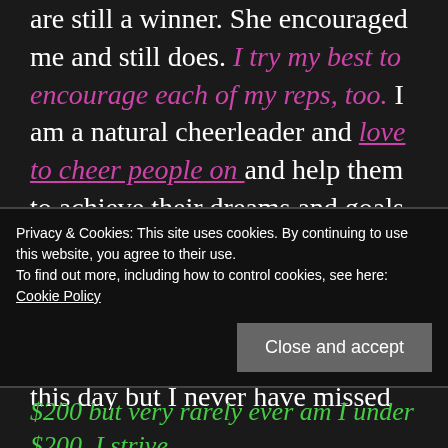are still a winner. She encouraged me and still does. I try my best to encourage each of my reps, too. I am a natural cheerleader and love to cheer people on and help them to achieve their dreams and goals. What can I do for you? Please let me help you. Don't struggle. Don't pretend to know it all. I don't always have huge camps still to this day but I never have missed putting in some kind of order. Once I became a leader I made sure to at least put in my $50 order (it was always more than that). Then when I
Privacy & Cookies: This site uses cookies. By continuing to use this website, you agree to their use. To find out more, including how to control cookies, see here: Cookie Policy
$200 but very rarely ever am I under $200. I strive